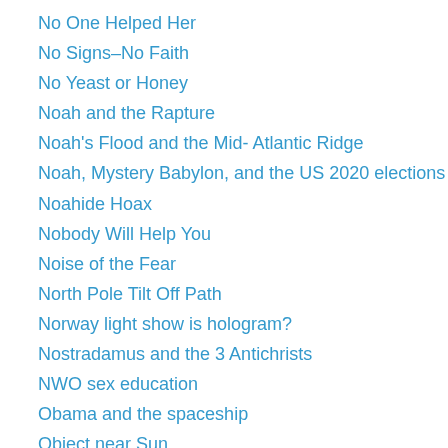No One Helped Her
No Signs–No Faith
No Yeast or Honey
Noah and the Rapture
Noah's Flood and the Mid- Atlantic Ridge
Noah, Mystery Babylon, and the US 2020 elections
Noahide Hoax
Nobody Will Help You
Noise of the Fear
North Pole Tilt Off Path
Norway light show is hologram?
Nostradamus and the 3 Antichrists
NWO sex education
Obama and the spaceship
Object near Sun
Occult sacrifice calendar
Occupy until I come
Offended
Oh, Happy Dance!
Old man Dying in the Hospital